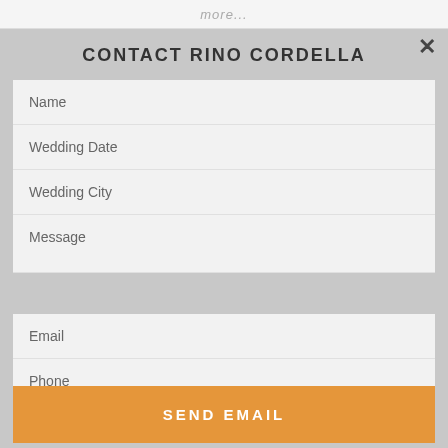more...
✕
CONTACT RINO CORDELLA
Name
Wedding Date
Wedding City
Message
Email
Phone
SEND EMAIL